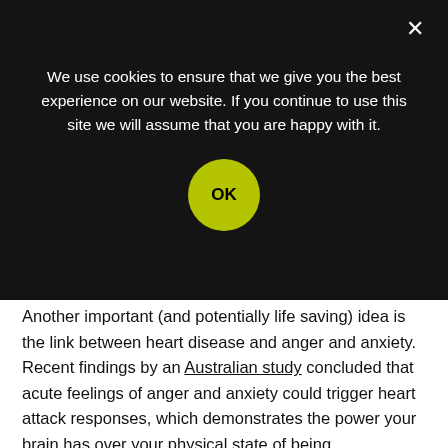We use cookies to ensure that we give you the best experience on our website. If you continue to use this site we will assume that you are happy with it.
Another important (and potentially life saving) idea is the link between heart disease and anger and anxiety. Recent findings by an Australian study concluded that acute feelings of anger and anxiety could trigger heart attack responses, which demonstrates the power your brain has over your physical state of being.
Again, catecholamines might be at play here. The autonomic nervous system of a